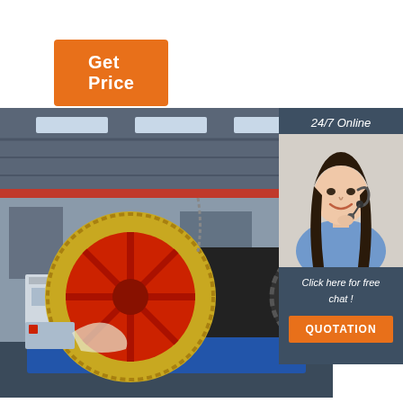[Figure (other): Orange 'Get Price' button at top left of the page]
[Figure (photo): Industrial factory interior showing a large ball mill or grinding machine with a prominent red-centered golden/brass flywheel or gear wheel on the left, a long black cylindrical drum/body extending to the right, mounted on a blue frame, inside a large steel-roofed industrial warehouse with red overhead cranes visible. The machinery is in a manufacturing facility.]
[Figure (photo): Customer service panel with dark gray background. Top text '24/7 Online', a photo of a smiling woman with dark hair wearing a headset/microphone in a blue shirt, followed by italic text 'Click here for free chat !', and an orange 'QUOTATION' button.]